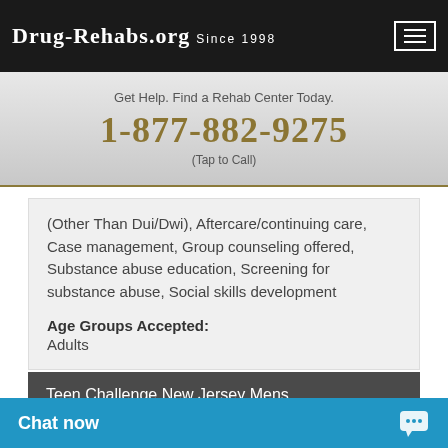Drug-Rehabs.org Since 1998
Get Help. Find a Rehab Center Today.
1-877-882-9275
(Tap to Call)
(Other Than Dui/Dwi), Aftercare/continuing care, Case management, Group counseling offered, Substance abuse education, Screening for substance abuse, Social skills development
Age Groups Accepted: Adults
Teen Challenge New Jersey Mens
Chat now